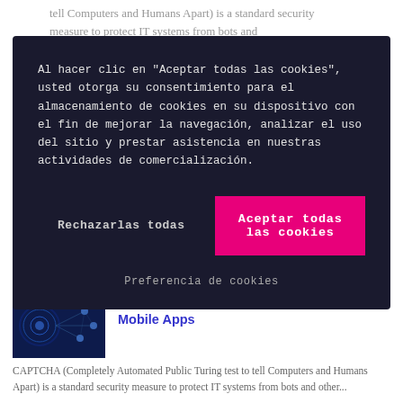tell Computers and Humans Apart) is a standard security measure to protect IT systems from bots and
[Figure (screenshot): Cookie consent modal dialog with dark background. Contains Spanish text about cookie consent, two buttons: 'Rechazarlas todas' and 'Aceptar todas las cookies' (pink/magenta), and a 'Preferencia de cookies' link.]
[Figure (photo): Thumbnail image of cybersecurity concept with blue digital network visualization]
Towards a Proactive Threat Defense in Mobile Apps
CAPTCHA (Completely Automated Public Turing test to tell Computers and Humans Apart) is a standard security measure to protect IT systems from bots and other...